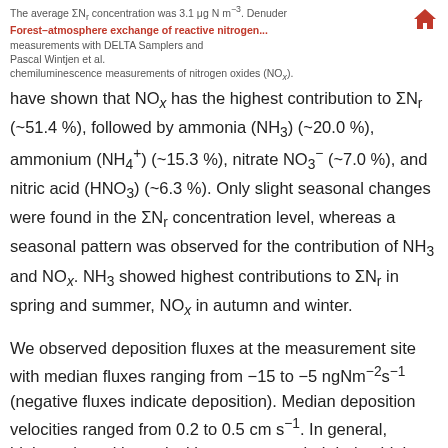The average ΣNr concentration was 3.1 μg N m⁻³. Denuder Forest–atmosphere exchange of reactive nitrogen... measurements with DELTA Samplers and Pascal Wintjen et al. chemiluminescence measurements of nitrogen oxides (NOₓ).
have shown that NOx has the highest contribution to ΣNr (~51.4 %), followed by ammonia (NH3) (~20.0 %), ammonium (NH4⁺) (~15.3 %), nitrate NO3⁻ (~7.0 %), and nitric acid (HNO3) (~6.3 %). Only slight seasonal changes were found in the ΣNr concentration level, whereas a seasonal pattern was observed for the contribution of NH3 and NOx. NH3 showed highest contributions to ΣNr in spring and summer, NOx in autumn and winter.
We observed deposition fluxes at the measurement site with median fluxes ranging from −15 to −5 ngNm⁻²s⁻¹ (negative fluxes indicate deposition). Median deposition velocities ranged from 0.2 to 0.5 cm s⁻¹. In general, highest deposition velocities were recorded during high solar radiation, in particular from May to September. Our results suggest that